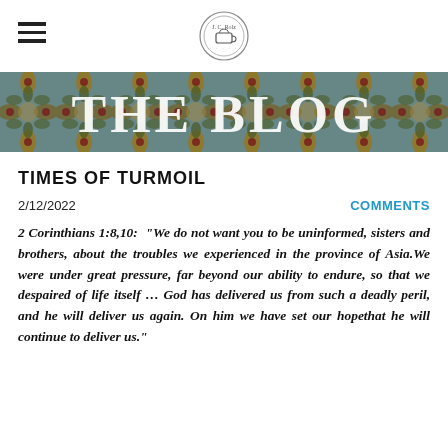J.C. Rolz blog header with hamburger menu and circular logo
[Figure (illustration): THE BLOG banner with decorative floral/art-nouveau patterned background in blue, gold and red, with large white serif text reading THE BLOG]
TIMES OF TURMOIL
2/12/2022
COMMENTS
2 Corinthians 1:8,10:  "We do not want you to be uninformed, sisters and brothers, about the troubles we experienced in the province of Asia.We were under great pressure, far beyond our ability to endure, so that we despaired of life itself … God has delivered us from such a deadly peril, and he will deliver us again. On him we have set our hopethat he will continue to deliver us."